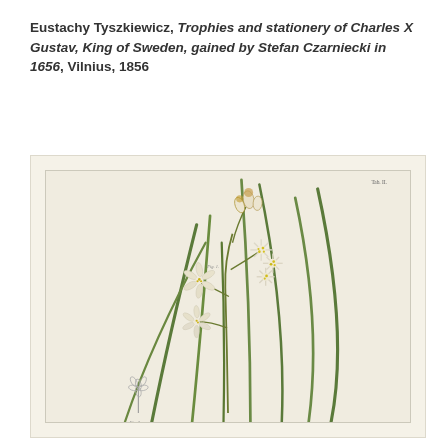Eustachy Tyszkiewicz, Trophies and stationery of Charles X Gustav, King of Sweden, gained by Stefan Czarniecki in 1656, Vilnius, 1856
[Figure (illustration): Botanical illustration of a white flowering plant (likely Anthericum or similar lily-family species) with long slender green leaves and multiple white star-shaped flowers with yellow stamens, shown on a cream/ivory aged paper background with a plate number in the upper right corner. A smaller detail sketch of a single flower is shown in the lower left portion.]